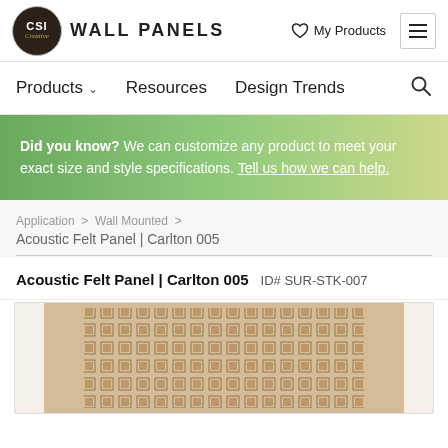CSI Creative WALL PANELS | My Products
Products | Resources | Design Trends
Did you know? We can customize any product to meet your exact size and style specifications. Tell us how we can help.
Application > Wall Mounted > Acoustic Felt Panel | Carlton 005
Acoustic Felt Panel | Carlton 005  ID# SUR-STK-007
[Figure (photo): Acoustic felt wall panel with decorative square perforation pattern in a beige/tan color, partially visible at the bottom of the page.]